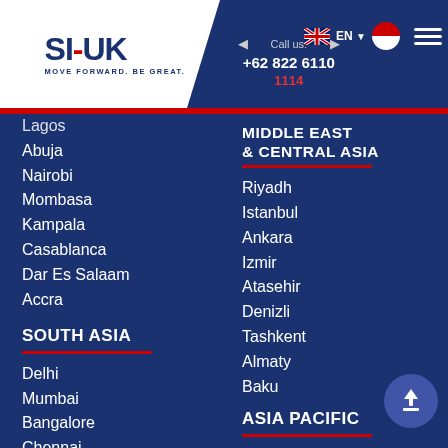SI-UK MOVE FORWARD. BE GREAT. | Call us: +62 822 6110 | 1114 | EN
Lagos (partial)
Abuja
Nairobi
Mombasa
Kampala
Casablanca
Dar Es Salaam
Accra
SOUTH ASIA
Delhi
Mumbai
Bangalore
Chennai
Coimbatore
Pune
Jaipur
Hyderabad
Ahmedabad
Lucknow
Kochi
Kolkata
Chandigarh
MIDDLE EAST & CENTRAL ASIA
Riyadh
Istanbul
Ankara
Izmir
Atasehir
Denizli
Tashkent
Almaty
Baku
ASIA PACIFIC
Tokyo
Osaka
Bangkok
Chiang Mai
Hong Kong
Ho Chi Minh
Hanoi
Kuala Lumpur
Taipei